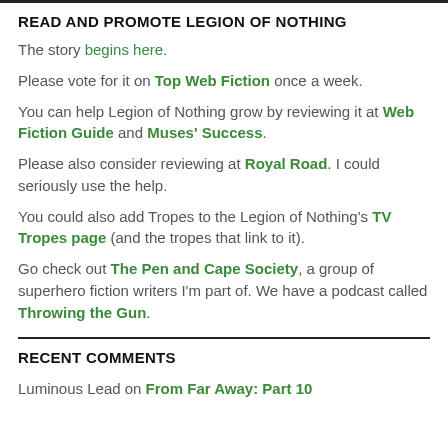READ AND PROMOTE LEGION OF NOTHING
The story begins here.
Please vote for it on Top Web Fiction once a week.
You can help Legion of Nothing grow by reviewing it at Web Fiction Guide and Muses' Success.
Please also consider reviewing at Royal Road. I could seriously use the help.
You could also add Tropes to the Legion of Nothing's TV Tropes page (and the tropes that link to it).
Go check out The Pen and Cape Society, a group of superhero fiction writers I'm part of. We have a podcast called Throwing the Gun.
RECENT COMMENTS
Luminous Lead on From Far Away: Part 10